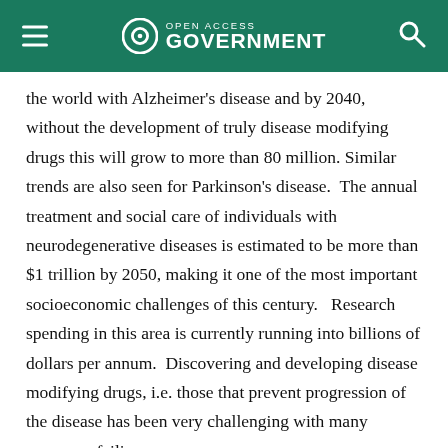Open Access Government
the world with Alzheimer's disease and by 2040, without the development of truly disease modifying drugs this will grow to more than 80 million. Similar trends are also seen for Parkinson's disease.  The annual treatment and social care of individuals with neurodegenerative diseases is estimated to be more than $1 trillion by 2050, making it one of the most important socioeconomic challenges of this century.   Research spending in this area is currently running into billions of dollars per annum.  Discovering and developing disease modifying drugs, i.e. those that prevent progression of the disease has been very challenging with many programs failing.
This section begins with a line of text...